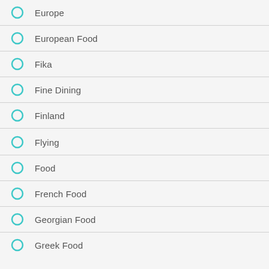Europe
European Food
Fika
Fine Dining
Finland
Flying
Food
French Food
Georgian Food
Greek Food